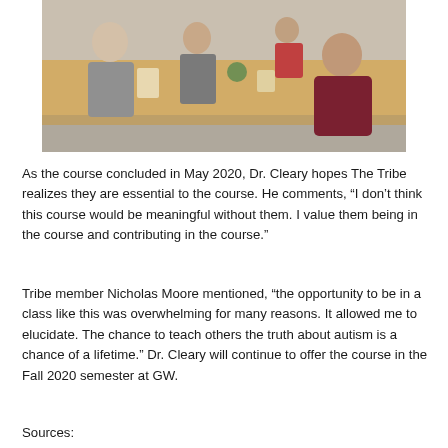[Figure (photo): People sitting around a long wooden table in a cafeteria or dining area; a man in a grey top is visible on the left and a woman in a dark red puffer jacket is on the right.]
As the course concluded in May 2020, Dr. Cleary hopes The Tribe realizes they are essential to the course. He comments, “I don’t think this course would be meaningful without them. I value them being in the course and contributing in the course.”
Tribe member Nicholas Moore mentioned, “the opportunity to be in a class like this was overwhelming for many reasons. It allowed me to elucidate. The chance to teach others the truth about autism is a chance of a lifetime.” Dr. Cleary will continue to offer the course in the Fall 2020 semester at GW.
Sources: